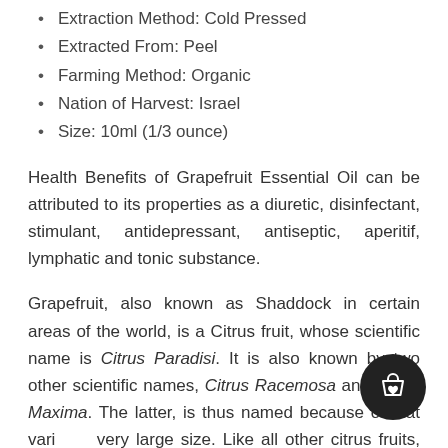Extraction Method: Cold Pressed
Extracted From: Peel
Farming Method: Organic
Nation of Harvest: Israel
Size: 10ml (1/3 ounce)
Health Benefits of Grapefruit Essential Oil can be attributed to its properties as a diuretic, disinfectant, stimulant, antidepressant, antiseptic, aperitif, lymphatic and tonic substance.
Grapefruit, also known as Shaddock in certain areas of the world, is a Citrus fruit, whose scientific name is Citrus Paradisi. It is also known by two other scientific names, Citrus Racemosa and Citrus Maxima. The latter, is thus named because of that variety's very large size. Like all other citrus fruits, its Essential Oil is present in its peel and extracted by compression. Many of its medicinal properties match those of the